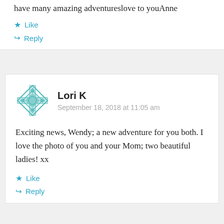have many amazing adventureslove to youAnne
★ Like
↪ Reply
Lori K
September 18, 2018 at 11:05 am
Exciting news, Wendy; a new adventure for you both. I love the photo of you and your Mom; two beautiful ladies! xx
★ Like
↪ Reply